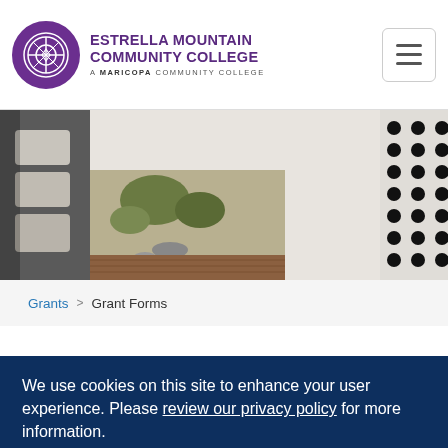ESTRELLA MOUNTAIN COMMUNITY COLLEGE — A MARICOPA COMMUNITY COLLEGE
[Figure (photo): Campus outdoor scene with architectural elements — cylindrical white planters/columns on the left with desert landscaping visible, and a perforated black and white metal panel on the right.]
Grants > Grant Forms
We use cookies on this site to enhance your user experience. Please review our privacy policy for more information.
OK